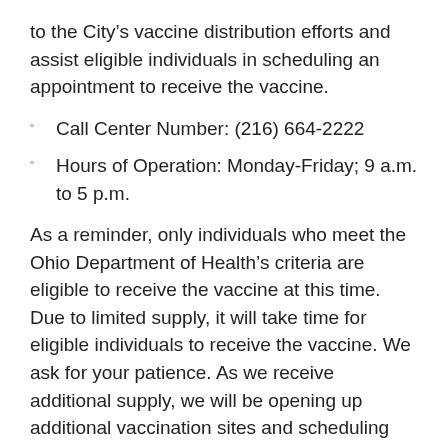to the City's vaccine distribution efforts and assist eligible individuals in scheduling an appointment to receive the vaccine.
Call Center Number: (216) 664-2222
Hours of Operation: Monday-Friday; 9 a.m. to 5 p.m.
As a reminder, only individuals who meet the Ohio Department of Health's criteria are eligible to receive the vaccine at this time. Due to limited supply, it will take time for eligible individuals to receive the vaccine. We ask for your patience. As we receive additional supply, we will be opening up additional vaccination sites and scheduling appointments for eligible individuals to receive the vaccine.